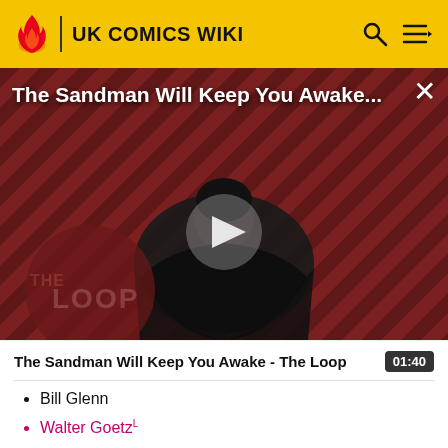UK COMICS WIKI
[Figure (screenshot): Video thumbnail showing a person in black clothing against a red/maroon diagonal striped background with 'THE LOOP' logo watermark. Play button overlay in center. Title 'The Sandman Will Keep You Awake...' overlaid at top. Close (X) button top right.]
The Sandman Will Keep You Awake - The Loop
Bill Glenn
Walter GoetzL
Lawrence GoldsmithW
Neil GooseW